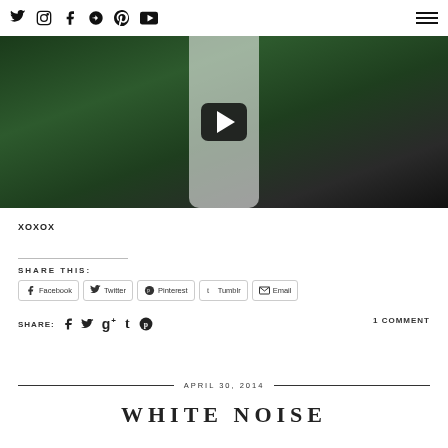Social media icons: Twitter, Instagram, Facebook, Google+, Pinterest, YouTube | Hamburger menu
[Figure (photo): Video thumbnail showing a woman in a white lace dress with black detail at the bottom hem, standing among palm trees. A dark play button overlay is visible in the center.]
XOXOX
SHARE THIS:
Facebook Twitter Pinterest Tumblr Email (share buttons)
SHARE: (social icons: Facebook, Twitter, Google+, Tumblr, Pinterest)   1 COMMENT
APRIL 30, 2014
WHITE NOISE